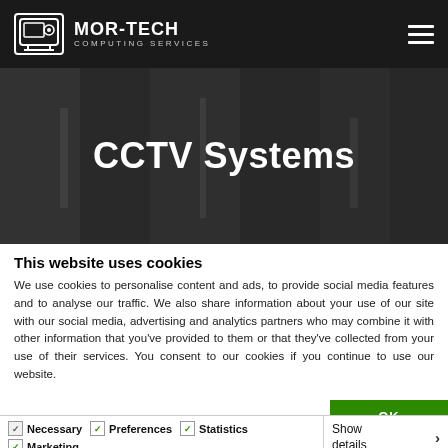MOR-TECH COMPUTING SERVICES
[Figure (screenshot): Hero banner with dark overlay showing office environment, with large white bold text 'CCTV Systems' centered]
CCTV Systems
This website uses cookies
We use cookies to personalise content and ads, to provide social media features and to analyse our traffic. We also share information about your use of our site with our social media, advertising and analytics partners who may combine it with other information that you've provided to them or that they've collected from your use of their services. You consent to our cookies if you continue to use our website.